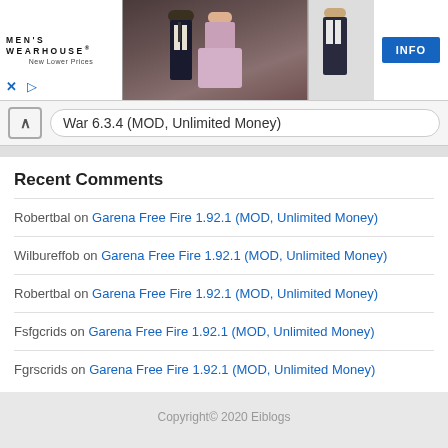[Figure (screenshot): Men's Wearhouse advertisement banner showing logo, couple in formal wear, man in suit, INFO button, close and play icons]
War 6.3.4 (MOD, Unlimited Money)
Recent Comments
Robertbal on Garena Free Fire 1.92.1 (MOD, Unlimited Money)
Wilbureffob on Garena Free Fire 1.92.1 (MOD, Unlimited Money)
Robertbal on Garena Free Fire 1.92.1 (MOD, Unlimited Money)
Fsfgcrids on Garena Free Fire 1.92.1 (MOD, Unlimited Money)
Fgrscrids on Garena Free Fire 1.92.1 (MOD, Unlimited Money)
Copyright© 2020 Eiblogs